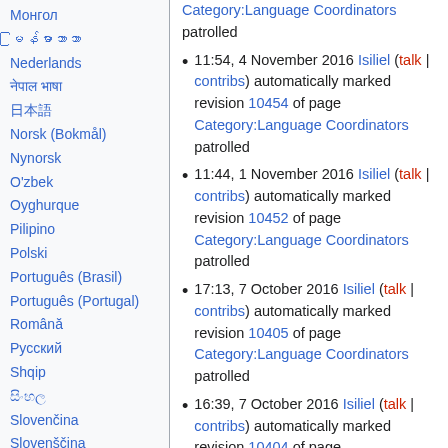Монгол
မြန်မာဘာသာ
Nederlands
नेपाल भाषा
日本語
Norsk (Bokmål)
Nynorsk
O'zbek
Oyghurque
Pilipino
Polski
Português (Brasil)
Português (Portugal)
Română
Русский
Shqip
සිංහල
Slovenčina
Slovenščina
Soomaaliga
Српски / Srpski
Suomi
Svenska
Category:Language Coordinators patrolled
11:54, 4 November 2016 Isiliel (talk | contribs) automatically marked revision 10454 of page Category:Language Coordinators patrolled
11:44, 1 November 2016 Isiliel (talk | contribs) automatically marked revision 10452 of page Category:Language Coordinators patrolled
17:13, 7 October 2016 Isiliel (talk | contribs) automatically marked revision 10405 of page Category:Language Coordinators patrolled
16:39, 7 October 2016 Isiliel (talk | contribs) automatically marked revision 10404 of page